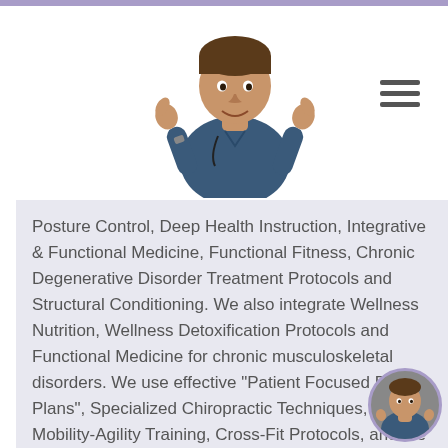[Figure (photo): Photo of a doctor in blue scrubs giving two thumbs up, placed in the top center of the page header]
[Figure (illustration): Hamburger menu icon (three horizontal lines) in the top right of the header]
Posture Control, Deep Health Instruction, Integrative & Functional Medicine, Functional Fitness, Chronic Degenerative Disorder Treatment Protocols and Structural Conditioning. We also integrate Wellness Nutrition, Wellness Detoxification Protocols and Functional Medicine for chronic musculoskeletal disorders. We use effective "Patient Focused Diet Plans", Specialized Chiropractic Techniques, Mobility-Agility Training, Cross-Fit Protocols, and the Premier "PUSH Functional Fitness System" to treat patients suffering from various injuries and health problems. Ultimately, I am
[Figure (photo): Small circular avatar photo of the same doctor in blue scrubs giving thumbs up, positioned in bottom right corner with purple circle border]